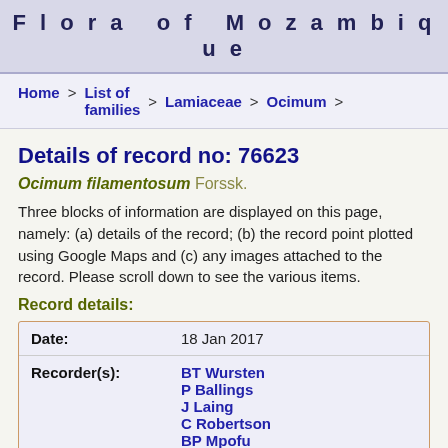Flora of Mozambique
Home > List of families > Lamiaceae > Ocimum >
Details of record no: 76623
Ocimum filamentosum Forssk.
Three blocks of information are displayed on this page, namely: (a) details of the record; (b) the record point plotted using Google Maps and (c) any images attached to the record. Please scroll down to see the various items.
Record details:
| Field | Value |
| --- | --- |
| Date: | 18 Jan 2017 |
| Recorder(s): | BT Wursten
P Ballings
J Laing
C Robertson
BP Mpofu |
| Collector(s): |  |